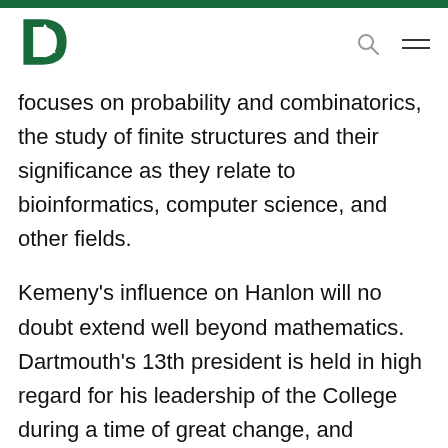[Figure (logo): Dartmouth College logo: green letter D with white pine tree inside]
focuses on probability and combinatorics, the study of finite structures and their significance as they relate to bioinformatics, computer science, and other fields.
Kemeny's influence on Hanlon will no doubt extend well beyond mathematics. Dartmouth's 13th president is held in high regard for his leadership of the College during a time of great change, and